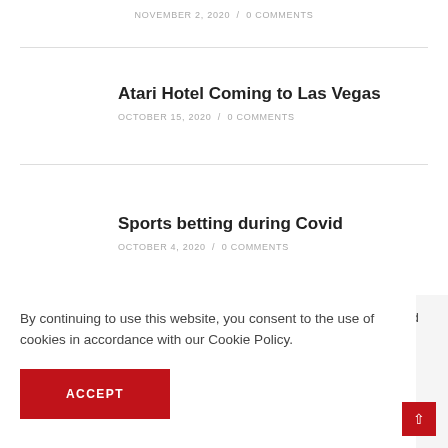NOVEMBER 2, 2020 / 0 COMMENTS
Atari Hotel Coming to Las Vegas
OCTOBER 15, 2020 / 0 COMMENTS
Sports betting during Covid
OCTOBER 4, 2020 / 0 COMMENTS
with Hard Gaming
By continuing to use this website, you consent to the use of cookies in accordance with our Cookie Policy.
ACCEPT
ames
ng